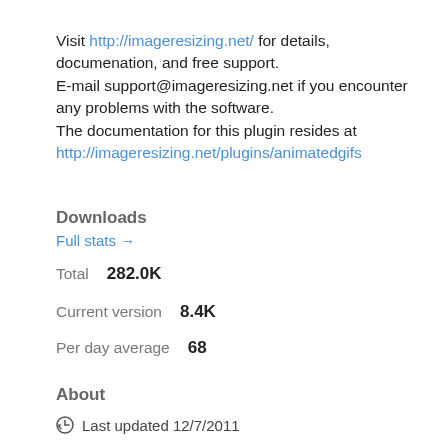Visit http://imageresizing.net/ for details, documenation, and free support.
E-mail support@imageresizing.net if you encounter any problems with the software.
The documentation for this plugin resides at http://imageresizing.net/plugins/animatedgifs
Downloads
Full stats →
Total  282.0K
Current version  8.4K
Per day average  68
About
Last updated 12/7/2011